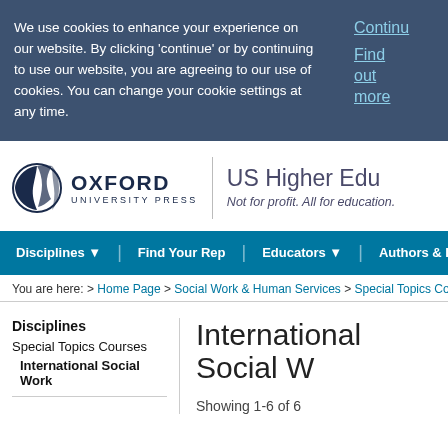We use cookies to enhance your experience on our website. By clicking 'continue' or by continuing to use our website, you are agreeing to our use of cookies. You can change your cookie settings at any time.
Continue
Find out more
[Figure (logo): Oxford University Press logo with circular feather/book emblem and text OXFORD UNIVERSITY PRESS]
US Higher Edu
Not for profit. All for education.
Disciplines ▼ | Find Your Rep | Educators ▼ | Authors & Revi
You are here: > Home Page > Social Work & Human Services > Special Topics Courses
Disciplines
Special Topics Courses
International Social Work
International Social W
Showing 1-6 of 6